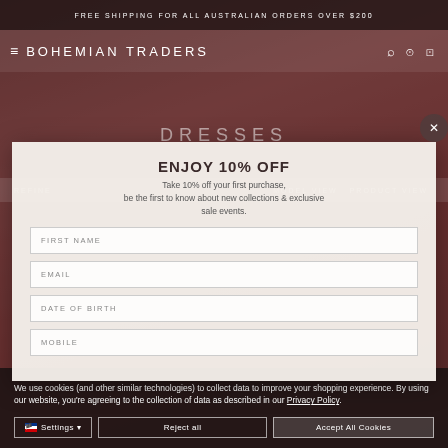FREE SHIPPING FOR ALL AUSTRALIAN ORDERS OVER $200
BOHEMIAN TRADERS
DRESSES
REFINE  MODEL VIEW  PRODUCT VIEW
ENJOY 10% OFF
Take 10% off your first purchase, be the first to know about new collections & exclusive sale events.
FIRST NAME
EMAIL
DATE OF BIRTH
MOBILE
We use cookies (and other similar technologies) to collect data to improve your shopping experience. By using our website, you're agreeing to the collection of data as described in our Privacy Policy.
Settings  Reject all  Accept All Cookies